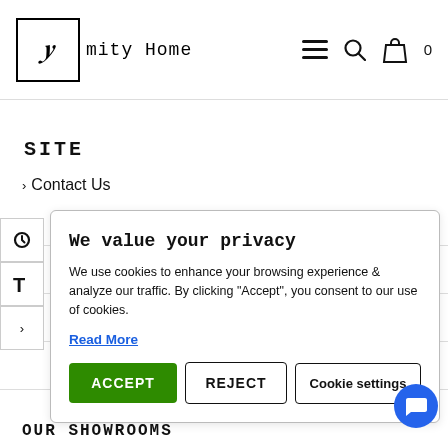Amity Home — navigation with hamburger menu, search, and bag icons
SITE
> Contact Us
[Figure (screenshot): Cookie consent popup overlay with title 'We value your privacy', descriptive text about cookies, a 'Read More' link, and three buttons: ACCEPT, REJECT, Cookie settings]
OUR SHOWROOMS